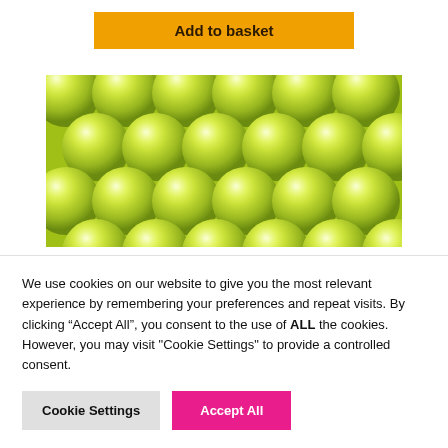Add to basket
[Figure (photo): Close-up photo of shiny yellow-green pearl/bead hemispheres arranged in rows]
We use cookies on our website to give you the most relevant experience by remembering your preferences and repeat visits. By clicking “Accept All”, you consent to the use of ALL the cookies. However, you may visit "Cookie Settings" to provide a controlled consent.
Cookie Settings
Accept All